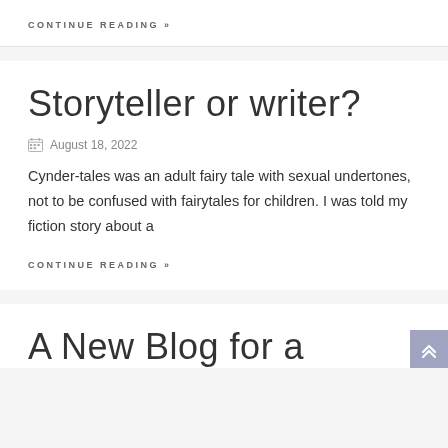CONTINUE READING »
Storyteller or writer?
August 18, 2022
Cynder-tales was an adult fairy tale with sexual undertones, not to be confused with fairytales for children.  I was told my fiction story about a
CONTINUE READING »
A New Blog for a